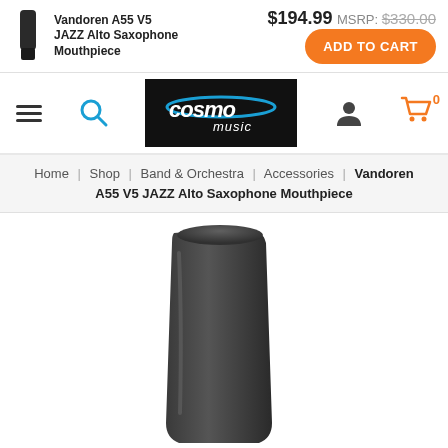Vandoren A55 V5 JAZZ Alto Saxophone Mouthpiece  $194.99 MSRP: $330.00  ADD TO CART
[Figure (logo): Cosmo Music logo - white text on black background with blue arc, italic font]
Home | Shop | Band & Orchestra | Accessories | Vandoren A55 V5 JAZZ Alto Saxophone Mouthpiece
[Figure (photo): Close-up photo of a dark charcoal/black saxophone mouthpiece (Vandoren A55 V5 JAZZ Alto Saxophone Mouthpiece) against a white background, showing the top and side profile]